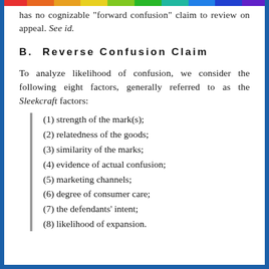has no cognizable "forward confusion" claim to review on appeal. See id.
B.  Reverse Confusion Claim
To analyze likelihood of confusion, we consider the following eight factors, generally referred to as the Sleekcraft factors:
(1) strength of the mark(s);
(2) relatedness of the goods;
(3) similarity of the marks;
(4) evidence of actual confusion;
(5) marketing channels;
(6) degree of consumer care;
(7) the defendants' intent;
(8) likelihood of expansion.